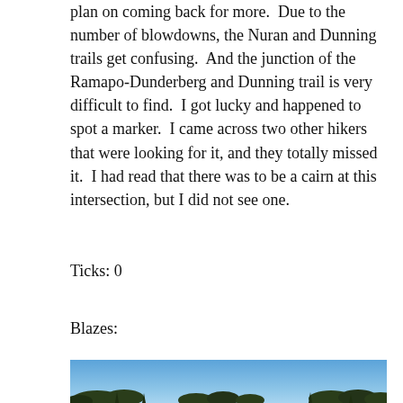plan on coming back for more.  Due to the number of blowdowns, the Nuran and Dunning trails get confusing.  And the junction of the Ramapo-Dunderberg and Dunning trail is very difficult to find.  I got lucky and happened to spot a marker.  I came across two other hikers that were looking for it, and they totally missed it.  I had read that there was to be a cairn at this intersection, but I did not see one.
Ticks: 0
Blazes:
[Figure (photo): Outdoor landscape photo showing trees silhouetted against a blue sky, taken from a hiking trail.]